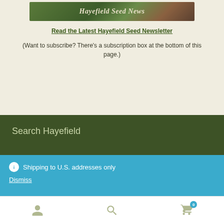[Figure (photo): Hayefield Seed News banner image with garden/nature background and text overlay]
Read the Latest Hayefield Seed Newsletter
(Want to subscribe? There's a subscription box at the bottom of this page.)
Search Hayefield
Shipping to U.S. addresses only
Dismiss